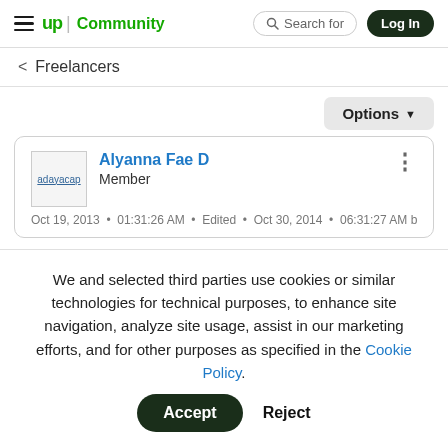up Community | Search for | Log In
< Freelancers
Options
[Figure (other): User avatar thumbnail placeholder showing broken image icon with text 'adayacap']
Alyanna Fae D
Member
Oct 19, 2013  •  01:31:26 AM  •  Edited  •  Oct 30, 2014  •  06:31:27 AM by
We and selected third parties use cookies or similar technologies for technical purposes, to enhance site navigation, analyze site usage, assist in our marketing efforts, and for other purposes as specified in the Cookie Policy.
Accept
Reject